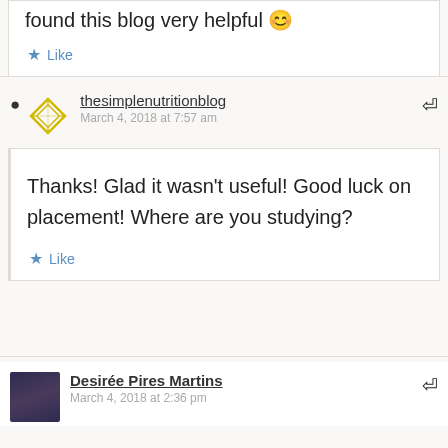found this blog very helpful 😊
Like
thesimplenutritionblog
March 4, 2018 at 7:57 am
Thanks! Glad it wasn't useful! Good luck on placement! Where are you studying?
Like
Desirée Pires Martins
March 4, 2018 at 2:36 pm